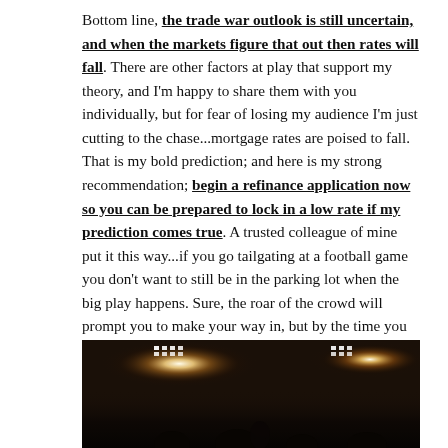Bottom line, the trade war outlook is still uncertain, and when the markets figure that out then rates will fall. There are other factors at play that support my theory, and I'm happy to share them with you individually, but for fear of losing my audience I'm just cutting to the chase...mortgage rates are poised to fall. That is my bold prediction; and here is my strong recommendation; begin a refinance application now so you can be prepared to lock in a low rate if my prediction comes true. A trusted colleague of mine put it this way...if you go tailgating at a football game you don't want to still be in the parking lot when the big play happens. Sure, the roar of the crowd will prompt you to make your way in, but by the time you get into the stadium you've missed the moment. Grabbing a low rate on a refinance is much the same; you need to be in your seat, watching the game in order to participate in the exciting plays.
[Figure (photo): Night stadium scene with bright stadium lights and silhouetted crowd figures in the foreground against a dark background.]